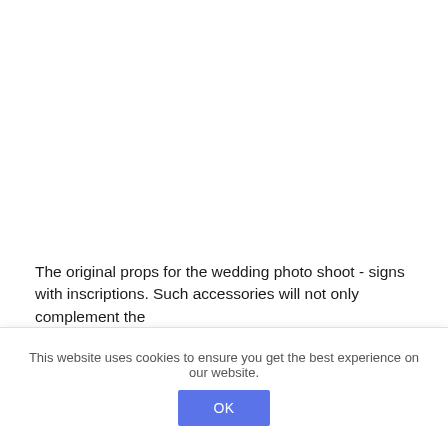The original props for the wedding photo shoot - signs with inscriptions. Such accessories will not only complement the
This website uses cookies to ensure you get the best experience on our website.
OK